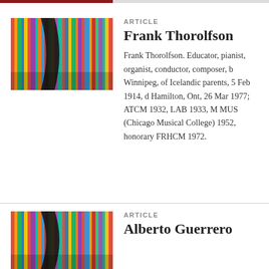[Figure (photo): Photo of colorful books on shelves viewed close-up with a curved dark frame element in foreground]
ARTICLE
Frank Thorolfson
Frank Thorolfson. Educator, pianist, organist, conductor, composer, b Winnipeg, of Icelandic parents, 5 Feb 1914, d Hamilton, Ont, 26 Mar 1977; ATCM 1932, LAB 1933, M MUS (Chicago Musical College) 1952, honorary FRHCM 1972.
[Figure (photo): Photo of colorful books on shelves viewed close-up with a curved dark frame element in foreground]
ARTICLE
Alberto Guerrero